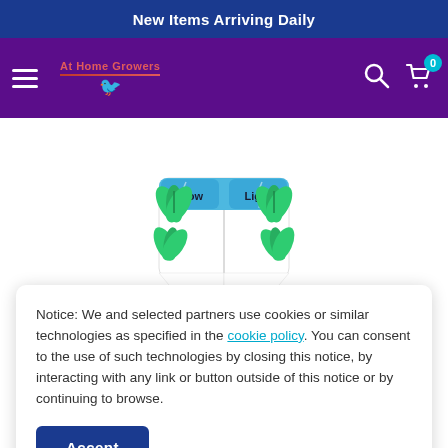New Items Arriving Daily
[Figure (logo): At Home Growers logo with red text, horizontal lines and a purple bird icon on purple navigation bar with hamburger menu, search icon, and cart with 0 badge]
[Figure (photo): White shorts/biker shorts with cannabis leaf print in green and blue wavy banner design reading 'brow' and 'Light']
Notice: We and selected partners use cookies or similar technologies as specified in the cookie policy. You can consent to the use of such technologies by closing this notice, by interacting with any link or button outside of this notice or by continuing to browse.
Accept